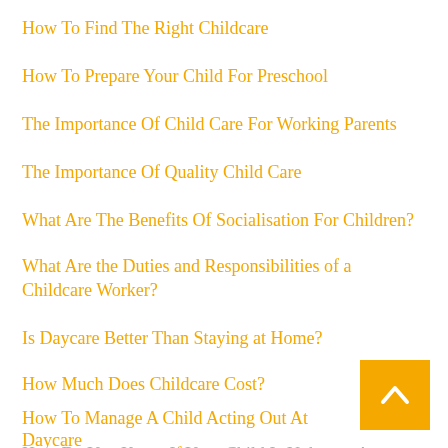How To Find The Right Childcare
How To Prepare Your Child For Preschool
The Importance Of Child Care For Working Parents
The Importance Of Quality Child Care
What Are The Benefits Of Socialisation For Children?
What Are the Duties and Responsibilities of a Childcare Worker?
Is Daycare Better Than Staying at Home?
How Much Does Childcare Cost?
How To Manage A Child Acting Out At Daycare
How Do You Know If Your Child Is Unhappy At